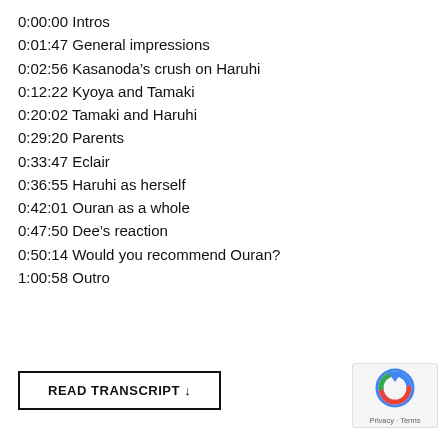0:00:00 Intros
0:01:47 General impressions
0:02:56 Kasanoda’s crush on Haruhi
0:12:22 Kyoya and Tamaki
0:20:02 Tamaki and Haruhi
0:29:20 Parents
0:33:47 Eclair
0:36:55 Haruhi as herself
0:42:01 Ouran as a whole
0:47:50 Dee’s reaction
0:50:14 Would you recommend Ouran?
1:00:58 Outro
READ TRANSCRIPT ↓
[Figure (logo): Google reCAPTCHA logo with Privacy and Terms text]